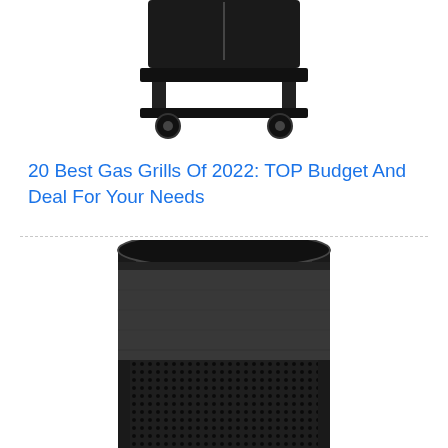[Figure (photo): Bottom portion of a gas grill on wheels (casters), black frame, viewed from front, cropped at top of image]
20 Best Gas Grills Of 2022: TOP Budget And Deal For Your Needs
[Figure (photo): Close-up of a cylindrical black Bose SoundLink Revolve Bluetooth speaker, showing the perforated mesh grille and flat top cap, cropped at bottom]